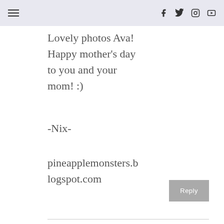Navigation and social icons header
Lovely photos Ava! Happy mother's day to you and your mom! :)

-Nix-

pineapplemonsters.blogspot.com
Reply
NICOLETHEDRESSUPDOLL